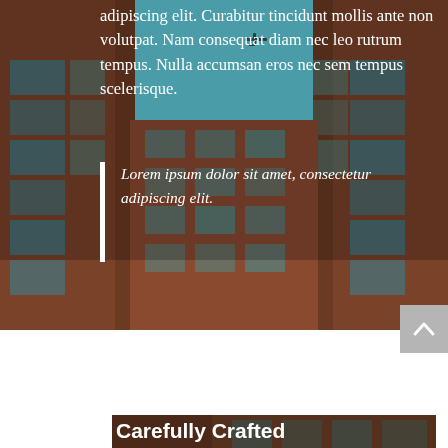[Figure (photo): Upward-looking photograph of a tall brick building with industrial windows and a narrow strip of blue sky visible between the building facades. A small airplane is visible in the sky.]
adipiscing elit. Curabitur tincidunt mollis ante non volutpat. Nam consequat diam nec leo rutrum tempus. Nulla accumsan eros nec sem tempus scelerisque.
Lorem ipsum dolor sit amet, consectetur adipiscing elit.
[Figure (photo): Partial photo of brick building exterior with a scroll-up button overlay in the bottom-right corner.]
Carefully Crafted
We're proud to release Josefin 5. Inspired by